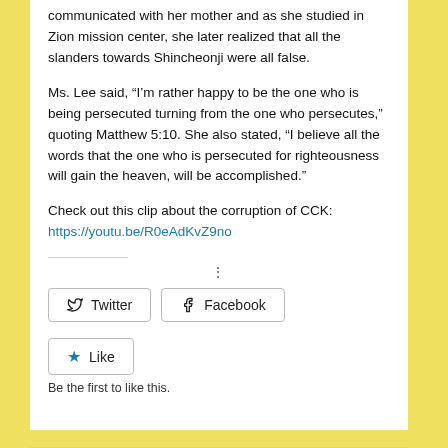communicated with her mother and as she studied in Zion mission center, she later realized that all the slanders towards Shincheonji were all false.
Ms. Lee said, “I’m rather happy to be the one who is being persecuted turning from the one who persecutes,” quoting Matthew 5:10. She also stated, “I believe all the words that the one who is persecuted for righteousness will gain the heaven, will be accomplished.”
Check out this clip about the corruption of CCK:
https://youtu.be/R0eAdKvZ9no
[Figure (other): Social sharing buttons: Twitter and Facebook buttons, a Like button with star icon, and text 'Be the first to like this.']